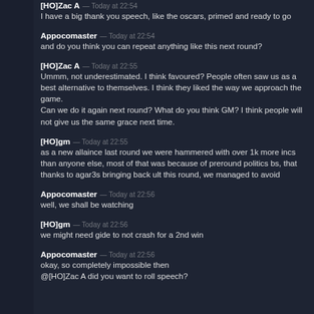[HO]Zac A — Today at 22:54
I have a big thank you speech, like the oscars, primed and ready to go
Appocomaster — Today at 22:54
and do you think you can repeat anything like this next round?
[HO]Zac A — Today at 22:55
Ummm, not underestimated. I think favoured? People often saw us as a best alternative to themselves. I think they liked the way we approach the game.
Can we do it again next round? What do you think GM? I think people will not give us the same grace next time.
[HO]gm — Today at 22:55
as a new allaince last round we were hammered with over 1k more incs than anyone else, most of that was because of preround politics bs, that thanks to agar3s bringing back ult this round, we managed to avoid
Appocomaster — Today at 22:56
well, we shall be watching
[HO]gm — Today at 22:56
we might need gide to not crash for a 2nd win
Appocomaster — Today at 22:56
okay, so completely impossible then
@[HO]Zac A did you want to roll speech?